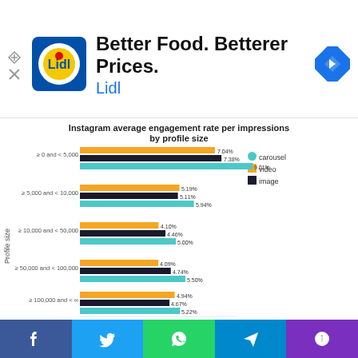[Figure (advertisement): Lidl ad banner: Better Food. Betterer Prices. Lidl logo and navigation icon]
[Figure (grouped-bar-chart): Instagram average engagement rate per impressions by profile size]
Let's start with the average engagement rate per impression. SocialInsider found that the carousel type is the winner for each account size. This is worth noting if you have a small
Facebook | Twitter | WhatsApp | Telegram | Phone